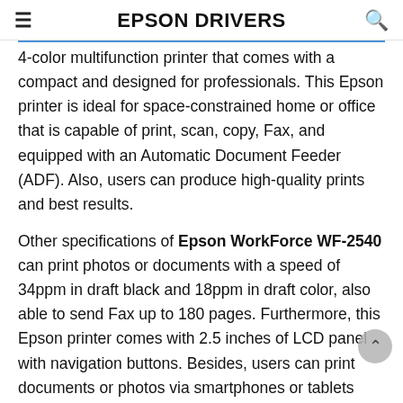EPSON DRIVERS
4-color multifunction printer that comes with a compact and designed for professionals. This Epson printer is ideal for space-constrained home or office that is capable of print, scan, copy, Fax, and equipped with an Automatic Document Feeder (ADF). Also, users can produce high-quality prints and best results.
Other specifications of Epson WorkForce WF-2540 can print photos or documents with a speed of 34ppm in draft black and 18ppm in draft color, also able to send Fax up to 180 pages. Furthermore, this Epson printer comes with 2.5 inches of LCD panel with navigation buttons. Besides, users can print documents or photos via smartphones or tablets with the Apple AirPrint, Epson iPrint, and Epson Connect apps.